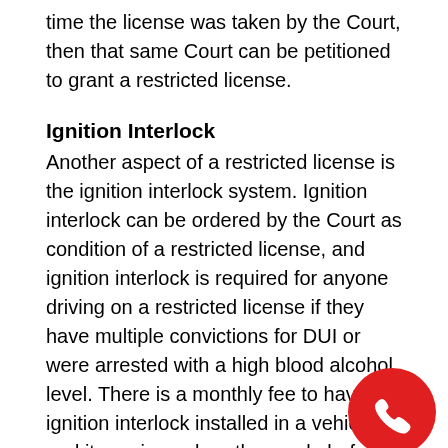time the license was taken by the Court, then that same Court can be petitioned to grant a restricted license.
Ignition Interlock
Another aspect of a restricted license is the ignition interlock system. Ignition interlock can be ordered by the Court as condition of a restricted license, and ignition interlock is required for anyone driving on a restricted license if they have multiple convictions for DUI or were arrested with a high blood alcohol level. There is a monthly fee to have the ignition interlock installed in a vehicle, and it requires a breath sample before it will allow the vehicle to be started. The ignition interlock devices also keep records of every attempt to start the vehicle and the records these devices produce
[Figure (illustration): Red circle with white phone/call icon in the bottom right corner of the page]